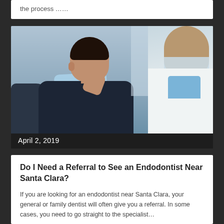the process ……
[Figure (photo): A male dental patient in a dentist's chair, wearing a light blue dental bib, touching his cheek/jaw with his hand indicating tooth pain, facing a dentist (seen from behind) wearing a white coat and blue scrubs.]
April 2, 2019
Do I Need a Referral to See an Endodontist Near Santa Clara?
If you are looking for an endodontist near Santa Clara, your general or family dentist will often give you a referral. In some cases, you need to go straight to the specialist…